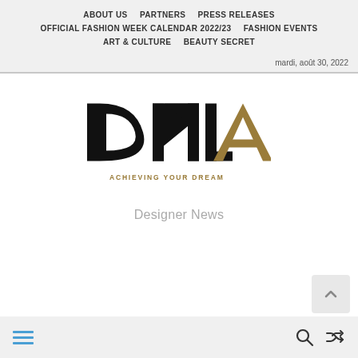ABOUT US   PARTNERS   PRESS RELEASES   OFFICIAL FASHION WEEK CALENDAR 2022/23   FASHION EVENTS   ART & CULTURE   BEAUTY SECRET
mardi, août 30, 2022
[Figure (logo): DNA-LA logo with bold black letters 'DNL' and gold letter 'A', tagline 'ACHIEVING YOUR DREAM' in gold]
Designer News